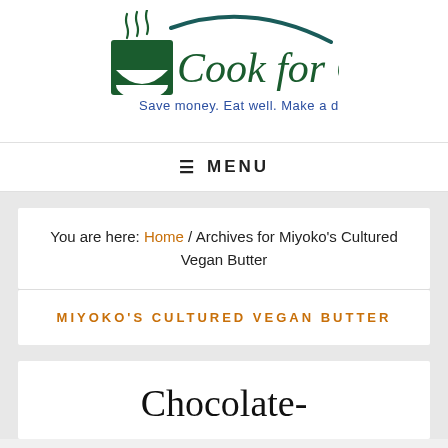[Figure (logo): Cook for Good logo with bowl and steam graphic, tagline: Save money. Eat well. Make a difference.]
≡ MENU
You are here: Home / Archives for Miyoko's Cultured Vegan Butter
MIYOKO'S CULTURED VEGAN BUTTER
Chocolate-